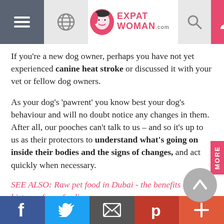ExpatWoman.com header navigation
If you're a new dog owner, perhaps you have not yet experienced canine heat stroke or discussed it with your vet or fellow dog owners.
As your dog's 'pawrent' you know best your dog's behaviour and will no doubt notice any changes in them. After all, our pooches can't talk to us – and so it's up to us as their protectors to understand what's going on inside their bodies and the signs of changes, and act quickly when necessary.
SEE ALSO: Raw pet food in Dubai - the benefits and history of raw feeding
The first questions on your mind then are possibly, what are some warning signs that a dog is overheated? How long does heat stroke in dogs last? Here, we aim to answer your questions to ensure you're fully prepared
Social sharing bar: Facebook, Twitter, Email, Pinterest, More